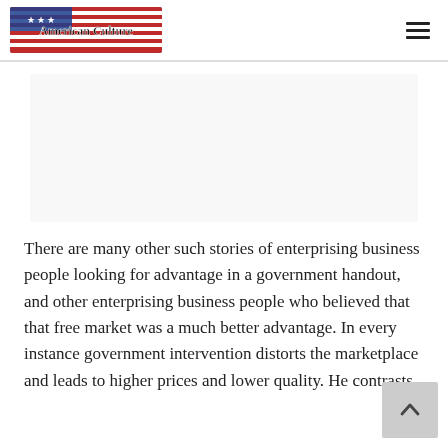American Culture
[Figure (other): Website header with American flag banner image and text 'American Culture' overlaid, plus hamburger menu icon on the right]
There are many other such stories of enterprising business people looking for advantage in a government handout, and other enterprising business people who believed that that free market was a much better advantage. In every instance government intervention distorts the marketplace and leads to higher prices and lower quality. He contrasts